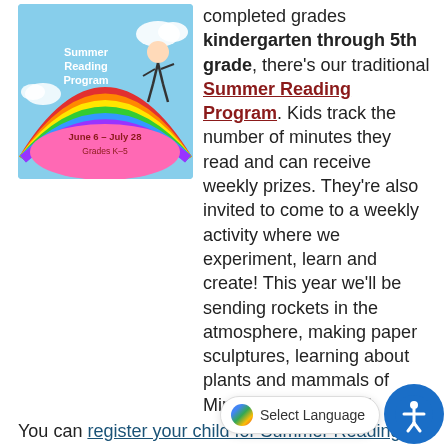[Figure (illustration): Summer Reading Program logo with rainbow, June 6 - July 28, Grades K-5]
completed grades kindergarten through 5th grade, there's our traditional Summer Reading Program. Kids track the number of minutes they read and can receive weekly prizes. They're also invited to come to a weekly activity where we experiment, learn and create! This year we'll be sending rockets in the atmosphere, making paper sculptures, learning about plants and mammals of Minnesota and more!
You can register your child for Summer Reading Program online or at pick up a form at the circulation desk.
[Figure (illustration): RAIF program banner with purple background and pink text, teen/tween illustration]
For teens and tweens (kids completed grades 6-